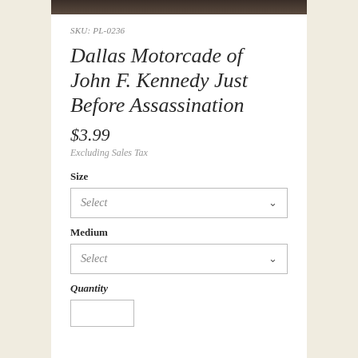[Figure (photo): Top portion of a product image showing the Dallas Motorcade photograph, cropped at the top of the page]
SKU: PL-0236
Dallas Motorcade of John F. Kennedy Just Before Assassination
$3.99
Excluding Sales Tax
Size
Select
Medium
Select
Quantity